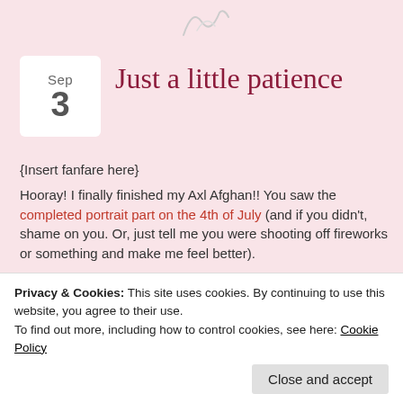[Figure (illustration): Decorative scribble or signature illustration at the top of the blog post page]
Just a little patience
{Insert fanfare here}
Hooray! I finally finished my Axl Afghan!! You saw the completed portrait part on the 4th of July (and if you didn't, shame on you. Or, just tell me you were shooting off fireworks or something and make me feel better).
[Figure (photo): Close-up photo of a crocheted afghan with yellow, black, and red/orange stripes]
Privacy & Cookies: This site uses cookies. By continuing to use this website, you agree to their use. To find out more, including how to control cookies, see here: Cookie Policy